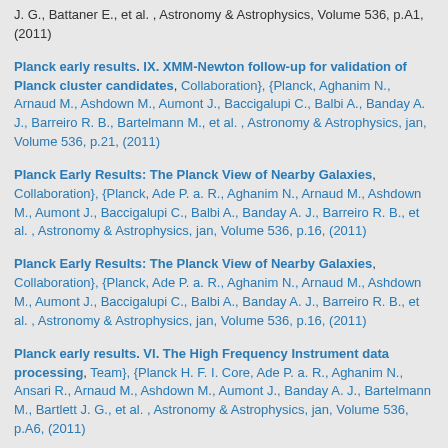J. G., Battaner E., et al. , Astronomy & Astrophysics, Volume 536, p.A1, (2011)
Planck early results. IX. XMM-Newton follow-up for validation of Planck cluster candidates, Collaboration}, {Planck, Aghanim N., Arnaud M., Ashdown M., Aumont J., Baccigalupi C., Balbi A., Banday A. J., Barreiro R. B., Bartelmann M., et al. , Astronomy & Astrophysics, jan, Volume 536, p.21, (2011)
Planck Early Results: The Planck View of Nearby Galaxies, Collaboration}, {Planck, Ade P. a. R., Aghanim N., Arnaud M., Ashdown M., Aumont J., Baccigalupi C., Balbi A., Banday A. J., Barreiro R. B., et al. , Astronomy & Astrophysics, jan, Volume 536, p.16, (2011)
Planck Early Results: The Planck View of Nearby Galaxies, Collaboration}, {Planck, Ade P. a. R., Aghanim N., Arnaud M., Ashdown M., Aumont J., Baccigalupi C., Balbi A., Banday A. J., Barreiro R. B., et al. , Astronomy & Astrophysics, jan, Volume 536, p.16, (2011)
Planck early results. VI. The High Frequency Instrument data processing, Team}, {Planck H. F. I. Core, Ade P. a. R., Aghanim N., Ansari R., Arnaud M., Ashdown M., Aumont J., Banday A. J., Bartelmann M., Bartlett J. G., et al. , Astronomy & Astrophysics, jan, Volume 536, p.A6, (2011)